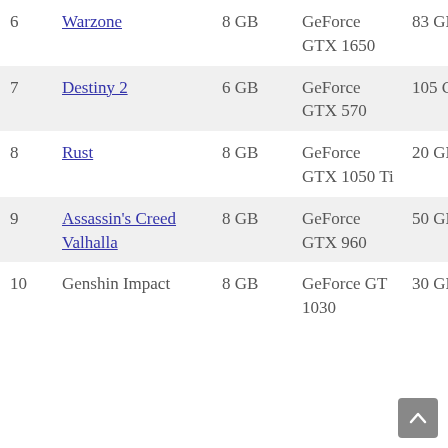| # | Game | RAM | GPU | Storage |
| --- | --- | --- | --- | --- |
| 6 | Warzone | 8 GB | GeForce GTX 1650 | 83 GB |
| 7 | Destiny 2 | 6 GB | GeForce GTX 570 | 105 GB |
| 8 | Rust | 8 GB | GeForce GTX 1050 Ti | 20 GB |
| 9 | Assassin's Creed Valhalla | 8 GB | GeForce GTX 960 | 50 GB |
| 10 | Genshin Impact | 8 GB | GeForce GT 1030 | 30 GB |